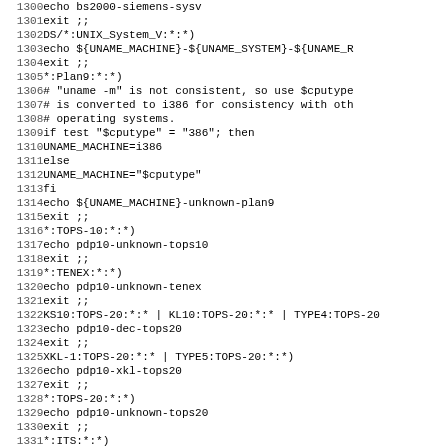Source code listing lines 1300-1331, shell script case statement for system identification